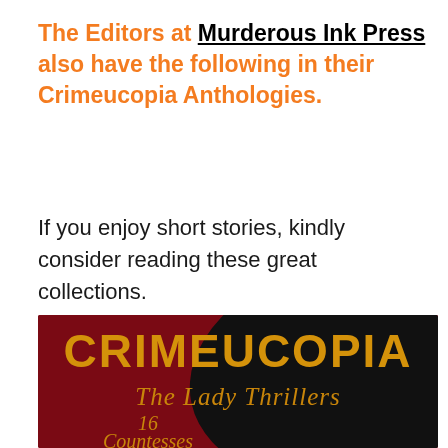The Editors at Murderous Ink Press also have the following in their Crimeucopia Anthologies.
If you enjoy short stories, kindly consider reading these great collections.
[Figure (illustration): Book cover for Crimeucopia: The Lady Thrillers — 16 Countesses of... Dark red/maroon background with gold distressed lettering for CRIMEUCOPIA at top, gold italic script reading The Lady Thrillers, and below that italic text reading 16 Countesses of, partially cut off.]